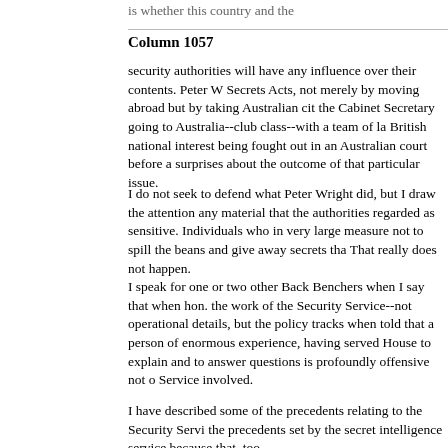is whether this country and the
Column 1057
security authorities will have any influence over their contents. Peter W... Secrets Acts, not merely by moving abroad but by taking Australian cit... the Cabinet Secretary going to Australia--club class--with a team of law... British national interest being fought out in an Australian court before a... surprises about the outcome of that particular issue.
I do not seek to defend what Peter Wright did, but I draw the attention... any material that the authorities regarded as sensitive. Individuals who... in very large measure not to spill the beans and give away secrets tha... That really does not happen.
I speak for one or two other Back Benchers when I say that when hon.... the work of the Security Service--not operational details, but the policy... tracks when told that a person of enormous experience, having served... House to explain and to answer questions is profoundly offensive not o... Service involved.
I have described some of the precedents relating to the Security Servi... the precedents set by the secret intelligence service because that, too...
Mr. Gorst : Does my hon. Friend agree that another consequence of w... availability of something, whether it be alcohol or information, the more... alcohol to people abroad because it is impossible to sell it at home, I s... and although the supply is restricted it will remain available.
Mr. Allason : I recognise what my hon. Friend says. This is no new ph... price. Going back to the principle of the duty of confidentiality and its r... Anthony Cavendish, who was threatened with civil proceedings under...